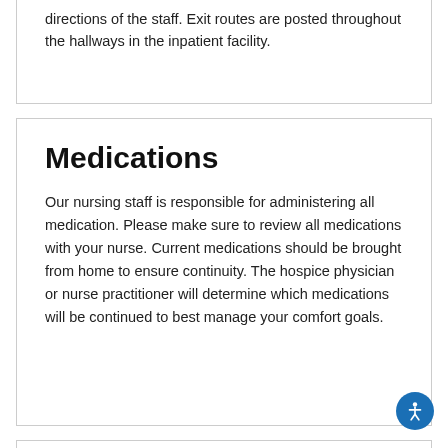directions of the staff. Exit routes are posted throughout the hallways in the inpatient facility.
Medications
Our nursing staff is responsible for administering all medication. Please make sure to review all medications with your nurse. Current medications should be brought from home to ensure continuity. The hospice physician or nurse practitioner will determine which medications will be continued to best manage your comfort goals.